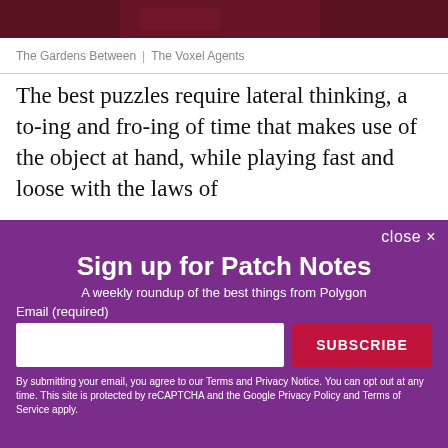[Figure (photo): Reddish-brown tinted banner image at the top of the page]
The Gardens Between | The Voxel Agents
The best puzzles require lateral thinking, a to-ing and fro-ing of time that makes use of the object at hand, while playing fast and loose with the laws of
close ✕
Sign up for Patch Notes
A weekly roundup of the best things from Polygon
Email (required)
SUBSCRIBE
By submitting your email, you agree to our Terms and Privacy Notice. You can opt out at any time. This site is protected by reCAPTCHA and the Google Privacy Policy and Terms of Service apply.